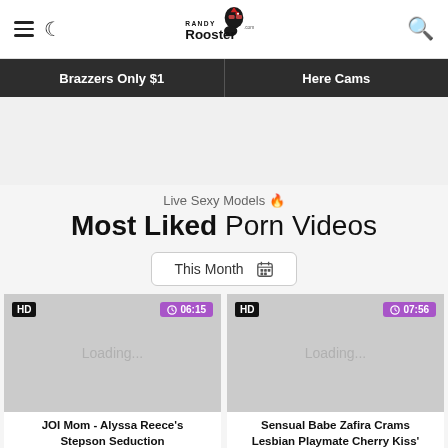Randy Rooster .com
Brazzers Only $1 | Here Cams
Live Sexy Models 🔥
Most Liked Porn Videos
This Month
[Figure (screenshot): Video thumbnail placeholder showing HD badge and 06:15 duration]
JOI Mom - Alyssa Reece's Stepson Seduction
[Figure (screenshot): Video thumbnail placeholder showing HD badge and 07:56 duration]
Sensual Babe Zafira Crams Lesbian Playmate Cherry Kiss'